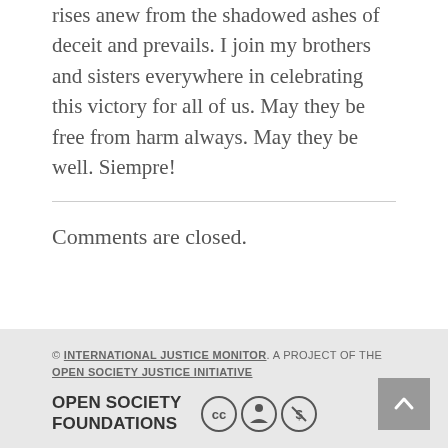rises anew from the shadowed ashes of deceit and prevails. I join my brothers and sisters everywhere in celebrating this victory for all of us. May they be free from harm always. May they be well. Siempre!
Comments are closed.
© INTERNATIONAL JUSTICE MONITOR. A PROJECT OF THE OPEN SOCIETY JUSTICE INITIATIVE
OPEN SOCIETY FOUNDATIONS [CC icons]